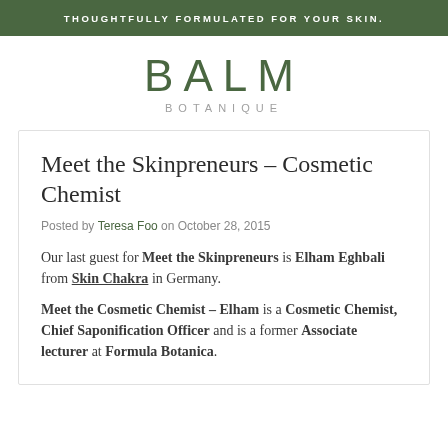THOUGHTFULLY FORMULATED FOR YOUR SKIN.
BALM
BOTANIQUE
Meet the Skinpreneurs – Cosmetic Chemist
Posted by Teresa Foo on October 28, 2015
Our last guest for Meet the Skinpreneurs is Elham Eghbali from Skin Chakra in Germany.
Meet the Cosmetic Chemist – Elham is a Cosmetic Chemist, Chief Saponification Officer and is a former Associate lecturer at Formula Botanica.